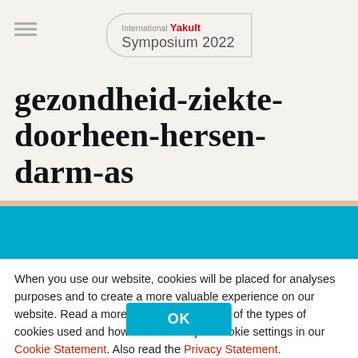International Yakult Symposium 2022
gezondheid-ziekte-doorheen-hersen-darm-as
When you use our website, cookies will be placed for analyses purposes and to create a more valuable experience on our website. Read a more detailed description of the types of cookies used and how to further adjust cookie settings in our Cookie Statement. Also read the Privacy Statement.
OK